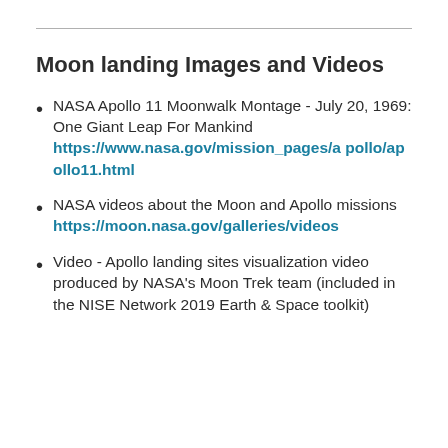Moon landing Images and Videos
NASA Apollo 11 Moonwalk Montage - July 20, 1969: One Giant Leap For Mankind https://www.nasa.gov/mission_pages/apollo/apollo11.html
NASA videos about the Moon and Apollo missions https://moon.nasa.gov/galleries/videos
Video - Apollo landing sites visualization video produced by NASA's Moon Trek team (included in the NISE Network 2019 Earth & Space toolkit)